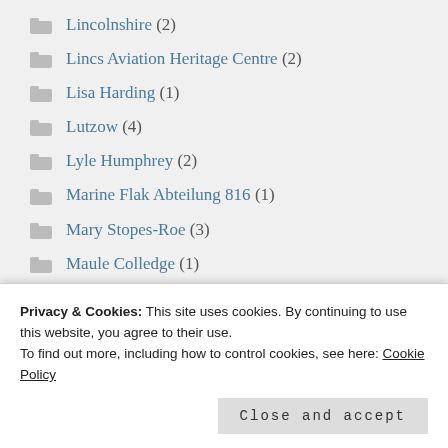Lincolnshire (2)
Lincs Aviation Heritage Centre (2)
Lisa Harding (1)
Lutzow (4)
Lyle Humphrey (2)
Marine Flak Abteilung 816 (1)
Mary Stopes-Roe (3)
Maule Colledge (1)
Max Smith (1)
Privacy & Cookies: This site uses cookies. By continuing to use this website, you agree to their use.
To find out more, including how to control cookies, see here: Cookie Policy
Mighty Imps (2)